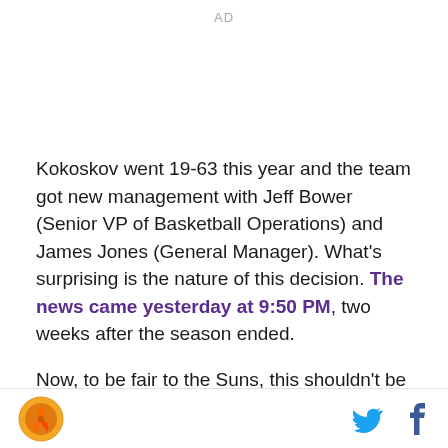AD
Kokoskov went 19-63 this year and the team got new management with Jeff Bower (Senior VP of Basketball Operations) and James Jones (General Manager). What's surprising is the nature of this decision. The news came yesterday at 9:50 PM, two weeks after the season ended.
Now, to be fair to the Suns, this shouldn't be a decision a team rushes and makes on a whim. Getting a new
logo | twitter | facebook